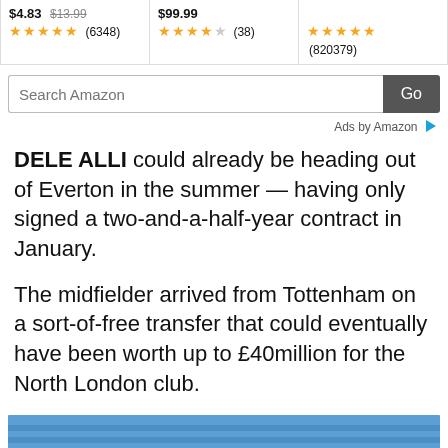[Figure (screenshot): Amazon ad bar showing three products: first at $4.83 (strikethrough $13.99) with 5 stars (6348 reviews), second at $99.99 with 4 stars (38 reviews), third with 5 stars (820379 reviews)]
[Figure (screenshot): Amazon search bar with 'Search Amazon' placeholder and 'Go' button]
Ads by Amazon
DELE ALLI could already be heading out of Everton in the summer — having only signed a two-and-a-half-year contract in January.
The midfielder arrived from Tottenham on a sort-of-free transfer that could eventually have been worth up to £40million for the North London club.
[Figure (photo): Dele Alli in a blue and white Everton kit on a football pitch, with blue stadium seats visible in the background]